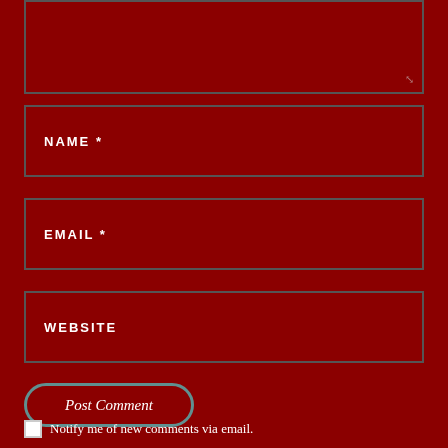[Figure (screenshot): Textarea input box (comment field) with resize handle at bottom-right, on dark red background]
NAME *
EMAIL *
WEBSITE
Post Comment
Notify me of new comments via email.